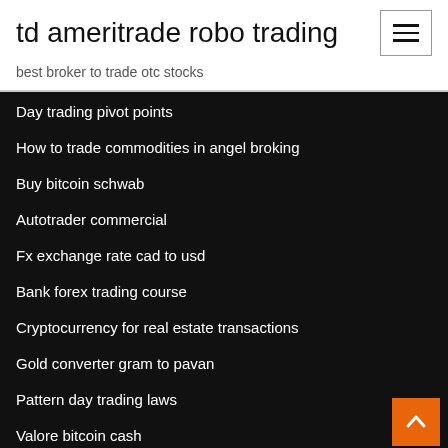td ameritrade robo trading
best broker to trade otc stocks
Day trading pivot points
How to trade commodities in angel broking
Buy bitcoin schwab
Autotrader commercial
Fx exchange rate cad to usd
Bank forex trading course
Cryptocurrency for real estate transactions
Gold converter gram to pavan
Pattern day trading laws
Valore bitcoin cash